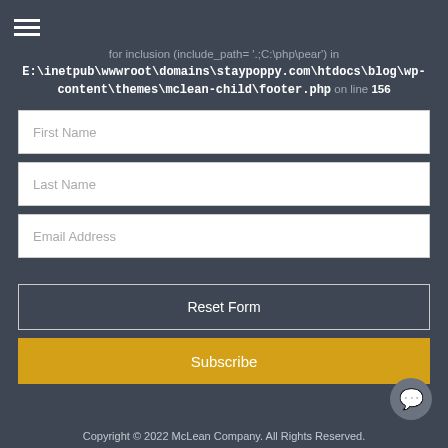≡ (hamburger menu)
for inclusion (include_path= '.;C:\php\pear') in E:\inetpub\wwwroot\domains\staypoppy.com\htdocs\blog\wp-content\themes\mclean-child\footer.php on line 156
First Name
Last Name
Email Address
Reset Form
Subscribe
Copyright © 2022 McLean Company. All Rights Reserved.